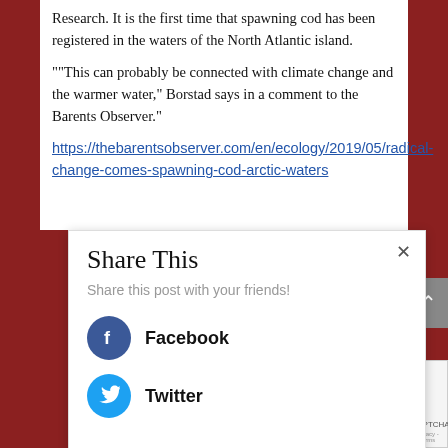[Figure (photo): Partial view of a photograph at the top of the page, cropped]
Research. It is the first time that spawning cod has been registered in the waters of the North Atlantic island.
""This can probably be connected with climate change and the warmer water," Borstad says in a comment to the Barents Observer."
https://thebarentsobserver.com/en/ecology/2019/05/radical-change-comes-spawning-cod-arctic-waters
Share This
Share this post with your friends!
Facebook
Twitter